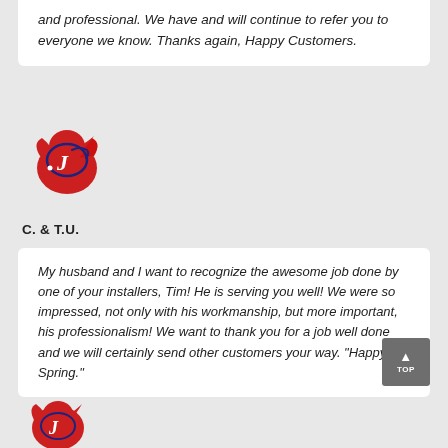and professional.  We have and will continue to refer you to everyone we know.  Thanks again, Happy Customers.
[Figure (logo): Red and blue company logo with stylized letters]
C. & T.U.
My husband and I want to recognize the awesome job done by one of your installers, Tim!  He is serving you well!  We were so impressed, not only with his workmanship, but more important, his professionalism!  We want to thank you for a job well done and we will certainly send other customers your way.  "Happy Spring."
[Figure (logo): Partial red and blue company logo at bottom of page]